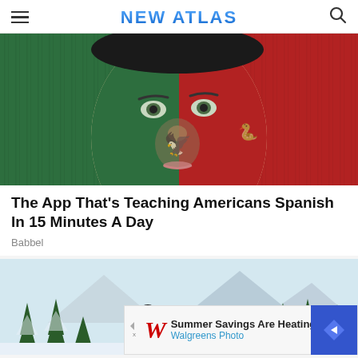NEW ATLAS
[Figure (photo): Person with Mexican flag face paint merged with Mexican flag background image]
The App That's Teaching Americans Spanish In 15 Minutes A Day
Babbel
[Figure (illustration): Illustrated outdoor winter scene with two people, pine trees and mountains]
[Figure (infographic): Walgreens Photo advertisement banner: Summer Savings Are Heating U - Walgreens Photo]